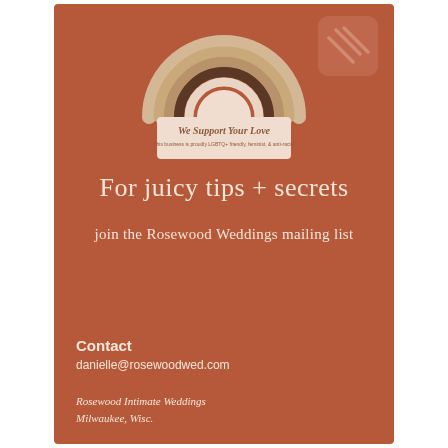[Figure (logo): Rainbow arch logo with 'We Support Your Love' badge. The rainbow has multiple arched bands in beige, tan, brown tones. Below it is a rectangular badge reading 'We Support Your Love' with subtitle 'This business is proudly LGBTQ+ friendly, feminist, & anti-racist'. Top right has decorative hash/slash marks on a rounded rectangle.]
For juicy tips + secrets
join the Rosewood Weddings mailing list
Contact
danielle@rosewoodwed.com
Rosewood Intimate Weddings
Milwaukee, Wisc.